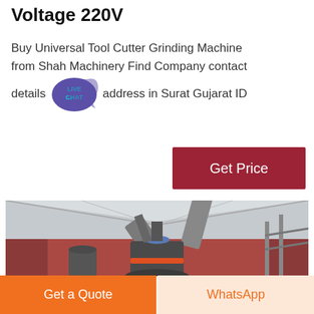Voltage 220V
Buy Universal Tool Cutter Grinding Machine from Shah Machinery Find Company contact details address in Surat Gujarat ID
[Figure (other): Live chat speech bubble icon with purple background and 'LIVE CHAT' text]
Get Price
[Figure (photo): Industrial grinding/milling machinery inside a large warehouse with metal roof structure. Large cylindrical dark grey machine visible with pipes and ducts overhead.]
Get a Quote
WhatsApp